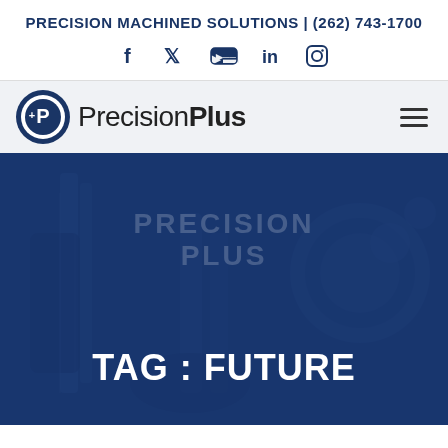PRECISION MACHINED SOLUTIONS | (262) 743-1700
[Figure (logo): Social media icons row: Facebook, Twitter, YouTube, LinkedIn, Instagram]
[Figure (logo): PrecisionPlus logo with circular P icon and company name]
TAG : FUTURE